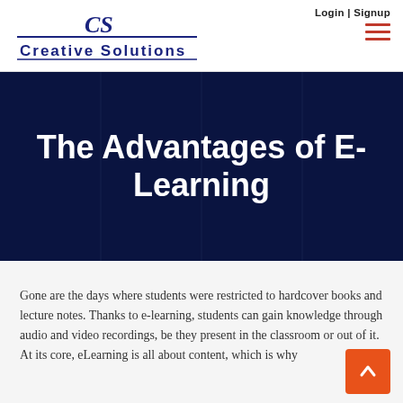Login | Signup
[Figure (logo): Creative Solutions logo with CS monogram and blue underline text]
The Advantages of E-Learning
Gone are the days where students were restricted to hardcover books and lecture notes. Thanks to e-learning, students can gain knowledge through audio and video recordings, be they present in the classroom or out of it. At its core, eLearning is all about content, which is why